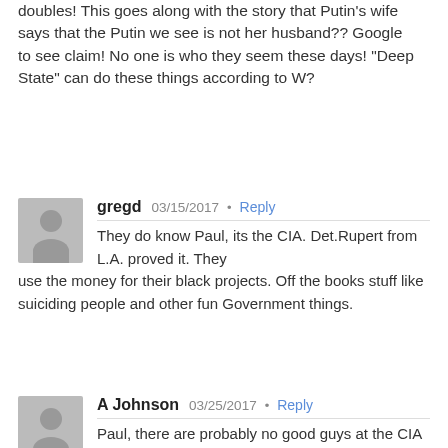doubles! This goes along with the story that Putin's wife says that the Putin we see is not her husband?? Google
to see claim! No one is who they seem these days! "Deep State" can do these things according to W?
gregd  03/15/2017  •  Reply
They do know Paul, its the CIA. Det.Rupert from L.A. proved it. They use the money for their black projects. Off the books stuff like suiciding people and other fun Government things.
A Johnson  03/25/2017  •  Reply
Paul, there are probably no good guys at the CIA able to do anything about the others. The organization needs to be shut down. We have 17 intelligence agencies, that is more than